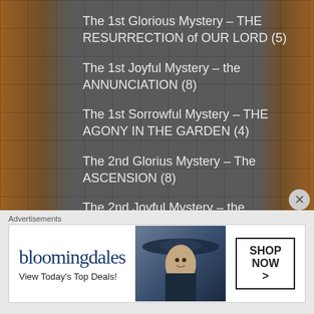The 1st Glorious Mystery – THE RESURRECTION of OUR LORD (5)
The 1st Joyful Mystery – the ANNUNCIATION (8)
The 1st Sorrowful Mystery – THE AGONY IN THE GARDEN (4)
The 2nd Glorius Mystery – The ASCENSION (8)
The 2nd Joyful Mystery – the VISITATION (10)
The 2nd Sorrowful Mystery – THE SCOURGING (1)
The 3rd Glorious Mystery – DESCENT of the HOLY SPIRIT (17)
The 3rd Joyful Mystery – the NATIVITY (4)
Advertisements
[Figure (other): Bloomingdale's advertisement banner with logo, 'View Today's Top Deals!' tagline, model wearing a wide-brim hat, and 'SHOP NOW >' button]